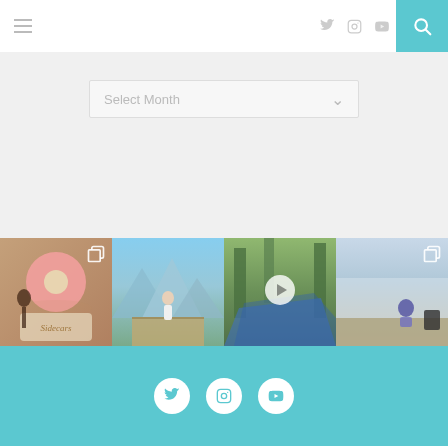Navigation header with hamburger menu, social icons (Twitter, Instagram, YouTube), and search button
[Figure (screenshot): Select Month dropdown UI element on gray background]
[Figure (photo): Four Instagram-style photo thumbnails in a horizontal strip: 1) donut food cart scene, 2) person on mountain overlook, 3) forest path video thumbnail with play button, 4) woman sitting on ledge with city view]
[Figure (infographic): Teal footer band with three white circle social media icons: Twitter, Instagram, YouTube]
© 2020 justblushing.net. All Rights Reserved.    BACK TO TOP ∧